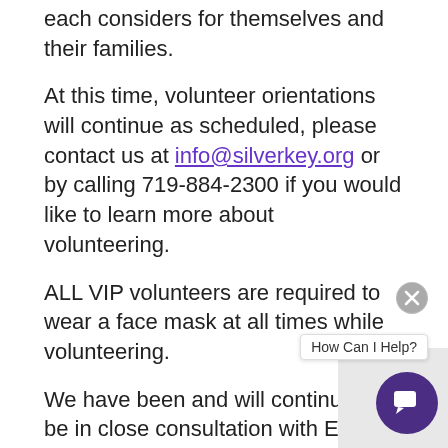each considers for themselves and their families.
At this time, volunteer orientations will continue as scheduled, please contact us at info@silverkey.org or by calling 719-884-2300 if you would like to learn more about volunteering.
ALL VIP volunteers are required to wear a face mask at all times while volunteering.
We have been and will continue to be in close consultation with El Paso County Public Health, particularly Medical Director (Dr. Robin Johnson) as well as other State and Local the ongoing cases of Coronavirus (COVID-19) throughout the world and our local community as we make decisions amid this fast-moving iss We will continually assess our protocols and practices during this unprecedented time.
[Figure (other): Chat widget overlay with close button (X circle), 'How Can I Help?' label, and purple chat icon button at bottom right corner of the page.]